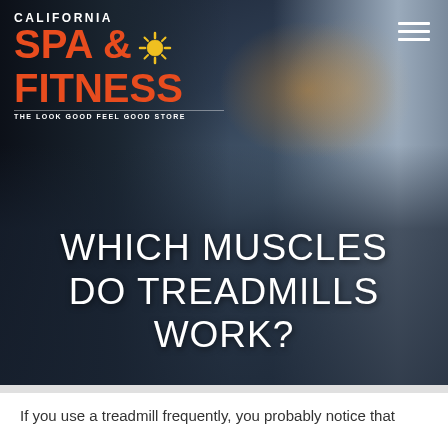[Figure (photo): Hero image of two people working out in a gym, one in dark clothing on the left and one in a gray t-shirt on the right, smiling. Dark overlay on lower half with white text. California Spa & Fitness logo in top left. Hamburger menu icon top right.]
WHICH MUSCLES DO TREADMILLS WORK?
If you use a treadmill frequently, you probably notice that